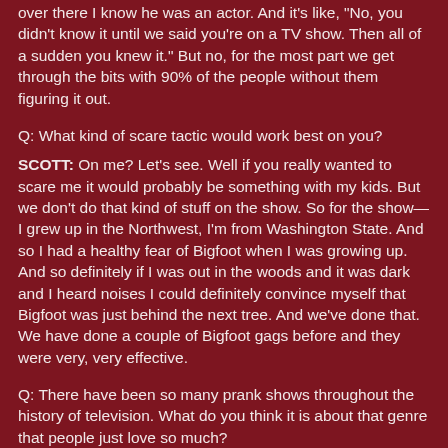over there I know he was an actor. And it's like, 'No, you didn't know it until we said you're on a TV show. Then all of a sudden you knew it.' But no, for the most part we get through the bits with 90% of the people without them figuring it out.
Q: What kind of scare tactic would work best on you?
SCOTT: On me? Let's see. Well if you really wanted to scare me it would probably be something with my kids. But we don't do that kind of stuff on the show. So for the show—I grew up in the Northwest, I'm from Washington State. And so I had a healthy fear of Bigfoot when I was growing up. And so definitely if I was out in the woods and it was dark and I heard noises I could definitely convince myself that Bigfoot was just behind the next tree. And we've done that. We have done a couple of Bigfoot gags before and they were very, very effective.
Q: There have been so many prank shows throughout the history of television. What do you think it is about that genre that people just love so much?